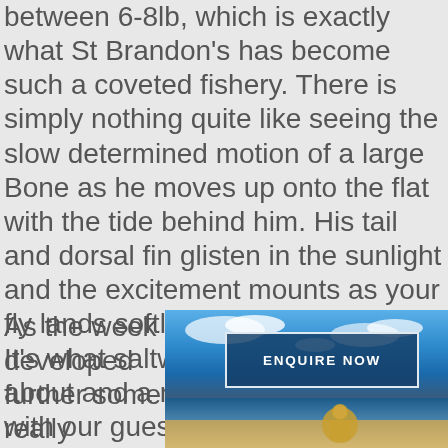between 6-8lb, which is exactly what St Brandon's has become such a coveted fishery. There is simply nothing quite like seeing the slow determined motion of a large Bone as he moves up onto the flat with the tide behind him. His tail and dorsal fin glisten in the sunlight and the excitement mounts as your fly lands softly 2 feet away from. It's what saltwater flats fishing is all about and a real privilege to share with our guests!
As the week developed further some really
[Figure (photo): Photo of a person fishing on a saltwater flat, with blue sky and ocean in the background. An 'ENQUIRE NOW' button overlay appears in the upper portion of the image.]